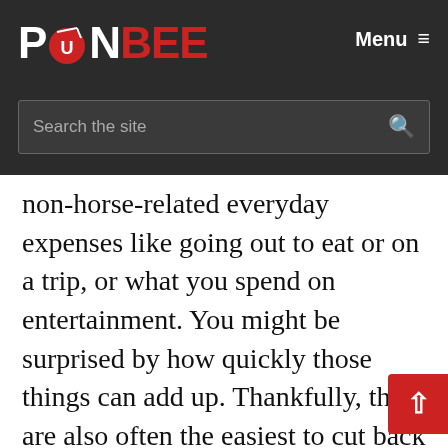PONBEE — Menu
non-horse-related everyday expenses like going out to eat or on a trip, or what you spend on entertainment. You might be surprised by how quickly those things can add up. Thankfully, they are also often the easiest to cut back on.
For example, if you tend to dine out at restaurants a lot, try cooking more at home. Do you have a lot of television/movie subscripti... If th...